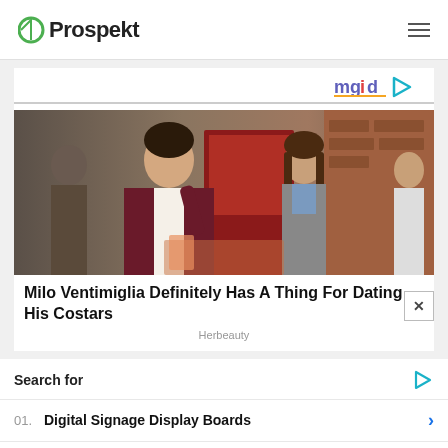Prospekt
[Figure (logo): mgid logo with play triangle icon in orange/teal]
[Figure (photo): Photo of Milo Ventimiglia and a female costar walking on a street in front of a red-doored building]
Milo Ventimiglia Definitely Has A Thing For Dating His Costars
Herbeauty
Search for
01. Digital Signage Display Boards
02. Most Nutritious Dogie Foods
Yahoo! Search | Sponsored